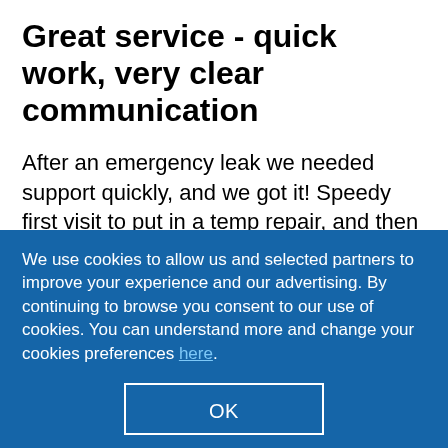Great service - quick work, very clear communication
After an emergency leak we needed support quickly, and we got it! Speedy first visit to put in a temp repair, and then very clear communication on what was needed to repair. Pricing was clear and repair was done the following day all at the agreed price. Great
We use cookies to allow us and selected partners to improve your experience and our advertising. By continuing to browse you consent to our use of cookies. You can understand more and change your cookies preferences here.
OK